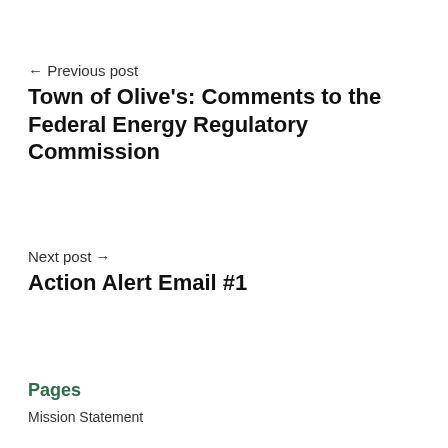← Previous post
Town of Olive's: Comments to the Federal Energy Regulatory Commission
Next post →
Action Alert Email #1
Pages
Mission Statement